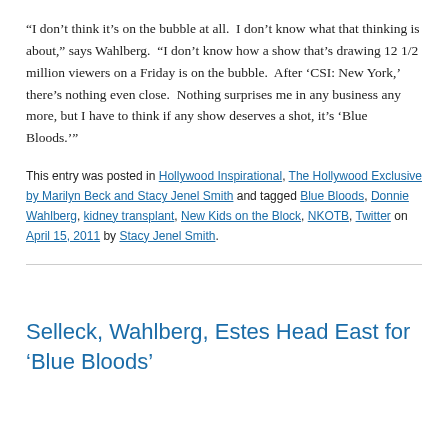“I don’t think it’s on the bubble at all.  I don’t know what that thinking is about,” says Wahlberg.  “I don’t know how a show that’s drawing 12 1/2 million viewers on a Friday is on the bubble.  After ‘CSI: New York,’ there’s nothing even close.  Nothing surprises me in any business any more, but I have to think if any show deserves a shot, it’s ‘Blue Bloods.’”
This entry was posted in Hollywood Inspirational, The Hollywood Exclusive by Marilyn Beck and Stacy Jenel Smith and tagged Blue Bloods, Donnie Wahlberg, kidney transplant, New Kids on the Block, NKOTB, Twitter on April 15, 2011 by Stacy Jenel Smith.
Selleck, Wahlberg, Estes Head East for ‘Blue Bloods’